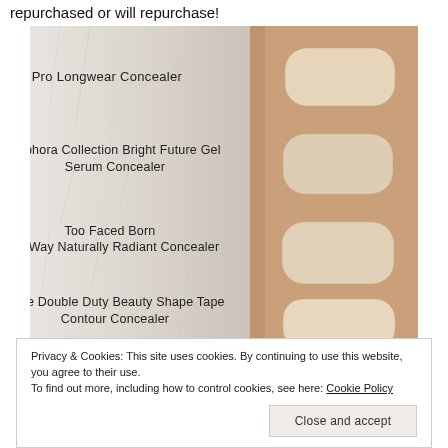repurchased or will repurchase!
[Figure (photo): A forearm shown with four concealer swatches applied side by side. Labels on the left identify each product: MAC Pro Longwear Concealer, Sephora Collection Bright Future Gel Serum Concealer, Too Faced Born This Way Naturally Radiant Concealer, Tarte Double Duty Beauty Shape Tape Contour Concealer. The background is a white fluffy fur texture on the left side.]
Privacy & Cookies: This site uses cookies. By continuing to use this website, you agree to their use.
To find out more, including how to control cookies, see here: Cookie Policy
Close and accept